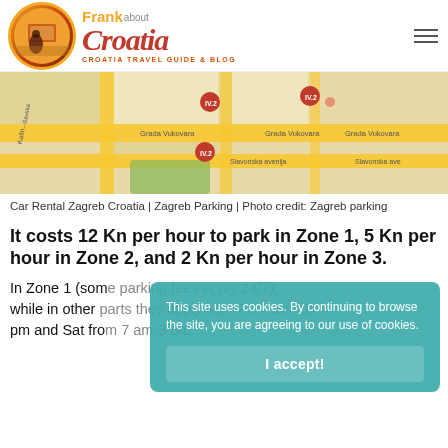[Figure (logo): Frank about Croatia logo — circular badge with silhouette figure, Croatia travel guide & blog text]
[Figure (map): Zagreb parking zone map showing streets including Grada Vukovara and Slavonska avenija with orange markers labeled IV.2]
Car Rental Zagreb Croatia | Zagreb Parking | Photo credit: Zagreb parking
It costs 12 Kn per hour to park in Zone 1, 5 Kn per hour in Zone 2, and 2 Kn per hour in Zone 3.
In Zone 1 (some parking fees apply 24/7), while in other parts they apply Mon-Fri 7 am-10 pm and Sat from 7 am-3 pm.
This site uses cookies. By continuing to browse the site, you are agreeing to our use of cookies.
I accept!